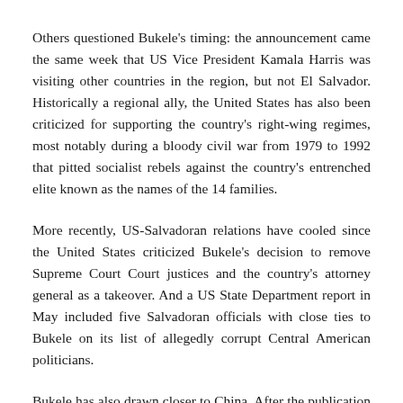Others questioned Bukele's timing: the announcement came the same week that US Vice President Kamala Harris was visiting other countries in the region, but not El Salvador. Historically a regional ally, the United States has also been criticized for supporting the country's right-wing regimes, most notably during a bloody civil war from 1979 to 1992 that pitted socialist rebels against the country's entrenched elite known as the names of the 14 families.
More recently, US-Salvadoran relations have cooled since the United States criticized Bukele's decision to remove Supreme Court justices and the country's attorney general as a takeover. And a US State Department report in May included five Salvadoran officials with close ties to Bukele on its list of allegedly corrupt Central American politicians.
Bukele has also drawn closer to China. After the publication of the bribery list, Bukele took to Twitter to praise a $ 500 million public investment from China which he said was "made without conditions." Previously, he tweeted his thanks to "President Xi